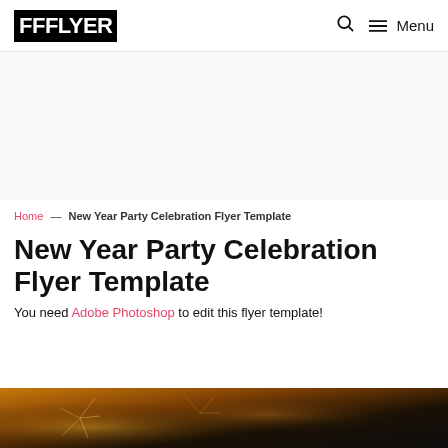FFFLYER
Home — New Year Party Celebration Flyer Template
New Year Party Celebration Flyer Template
You need Adobe Photoshop to edit this flyer template!
[Figure (photo): Preview image strip of the New Year Party Celebration Flyer Template showing a dark festive design with golden/orange fireworks elements]